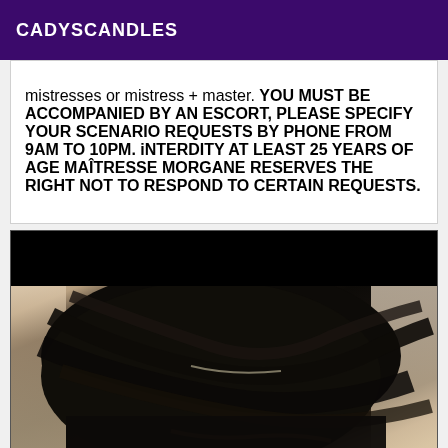CADYSCANDLES
mistresses or mistress + master. YOU MUST BE ACCOMPANIED BY AN ESCORT, PLEASE SPECIFY YOUR SCENARIO REQUESTS BY PHONE FROM 9AM TO 10PM. iNTERDITY AT LEAST 25 YEARS OF AGE MAÎTRESSE MORGANE RESERVES THE RIGHT NOT TO RESPOND TO CERTAIN REQUESTS.
[Figure (photo): Photo showing dark hair against a light background, partially obscured by a black bar at the top.]